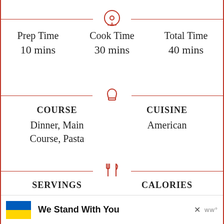Prep Time 10 mins | Cook Time 30 mins | Total Time 40 mins
COURSE Dinner, Main Course, Pasta | CUISINE American
SERVINGS 6 servings | CALORIES 613 kcal
We Stand With You